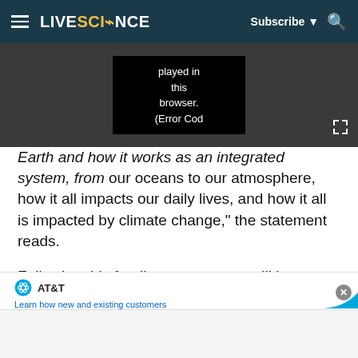LIVESCIENCE — Subscribe | Search
[Figure (screenshot): Video player showing error message: 'played in this browser. (Error Cod']
Earth and how it works as an integrated system, from our oceans to our atmosphere, how it all impacts our daily lives, and how it all is impacted by climate change," the statement reads.
Following this funding request, we will learn more about the administration's overall goals with regard to space, science and NASA programs. Within the
[Figure (screenshot): AT&T advertisement: 'Learn how new and existing customers get a free Galaxy Z Flip4 with a Galaxy phone trade-in' with image of Samsung Galaxy Z Flip4 phone in purple/lavender color]